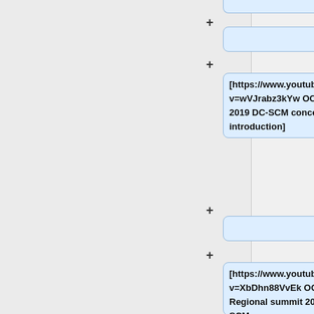[Figure (flowchart): Two-column layout showing a flowchart/wiki editor interface. Right column shows a series of node boxes connected by plus connectors. Top clipped box, then an empty node, then a node with text '[https://www.youtube.com/watch?v=wVJrabz3kYw OCP summit 2019 DC-SCM concept introduction]', then another empty node, then a node with '[https://www.youtube.com/watch?v=XbDhn88VvEk OCP Regional summit 2019: DC-SCM progress report]'.]